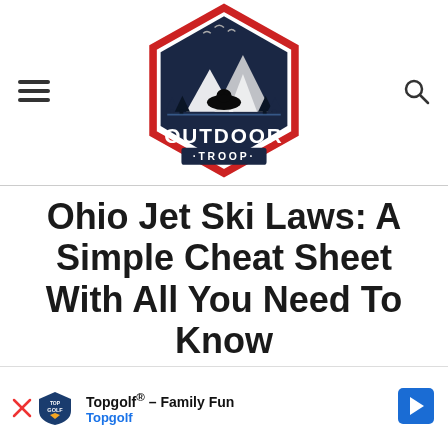[Figure (logo): Outdoor Troop logo — hexagon badge with mountains, trees, bear, birds, red border, dark navy text reading OUTDOOR TROOP]
Ohio Jet Ski Laws: A Simple Cheat Sheet With All You Need To Know
Jet ski ... ter in the su... mes
[Figure (other): Topgolf advertisement banner with logo, play button, text 'Topgolf® – Family Fun Topgolf' and blue navigation arrow]